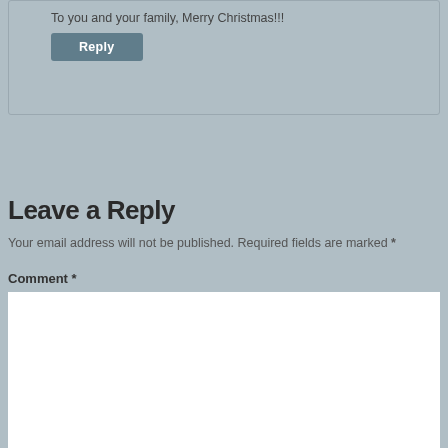To you and your family, Merry Christmas!!!
Reply
Leave a Reply
Your email address will not be published. Required fields are marked *
Comment *